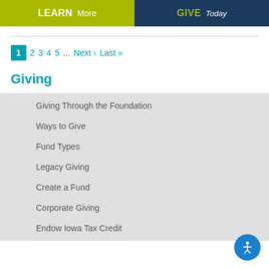[Figure (other): Two buttons: 'LEARN More' on green background and 'GIVE Today' on dark blue background]
1 2 3 4 5 ... Next › Last »
Giving
Giving Through the Foundation
Ways to Give
Fund Types
Legacy Giving
Create a Fund
Corporate Giving
Endow Iowa Tax Credit